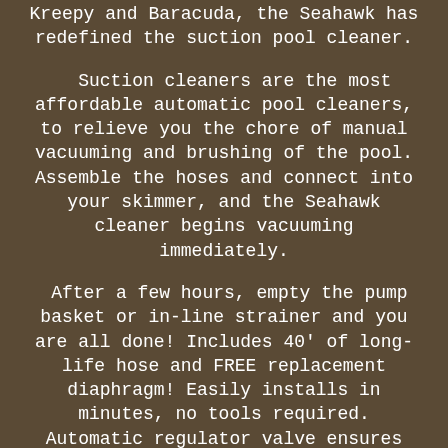Kreepy and Baracuda, the Seahawk has redefined the suction pool cleaner.
Suction cleaners are the most affordable automatic pool cleaners, to relieve you the chore of manual vacuuming and brushing of the pool. Assemble the hoses and connect into your skimmer, and the Seahawk cleaner begins vacuuming immediately.
After a few hours, empty the pump basket or in-line strainer and you are all done! Includes 40' of long-life hose and FREE replacement diaphragm! Easily installs in minutes, no tools required. Automatic regulator valve ensures optimum performance.
Durable footpad and bumper ring help the cleaner avoid obstacles. Oversized deliveries are curbside delivery with FREE liftgate. A signature is required.